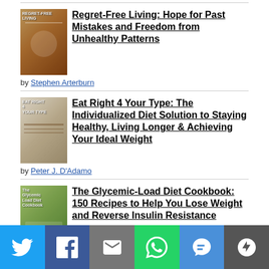[Figure (illustration): Book cover: Regret-Free Living]
Regret-Free Living: Hope for Past Mistakes and Freedom from Unhealthy Patterns
by Stephen Arterburn
[Figure (illustration): Book cover: Eat Right 4 Your Type]
Eat Right 4 Your Type: The Individualized Diet Solution to Staying Healthy, Living Longer & Achieving Your Ideal Weight
by Peter J. D'Adamo
[Figure (illustration): Book cover: The Glycemic-Load Diet Cookbook]
The Glycemic-Load Diet Cookbook: 150 Recipes to Help You Lose Weight and Reverse Insulin Resistance
by Rob Thompson
[Figure (illustration): Social share bar with Twitter, Facebook, Email, WhatsApp, SMS, More buttons]